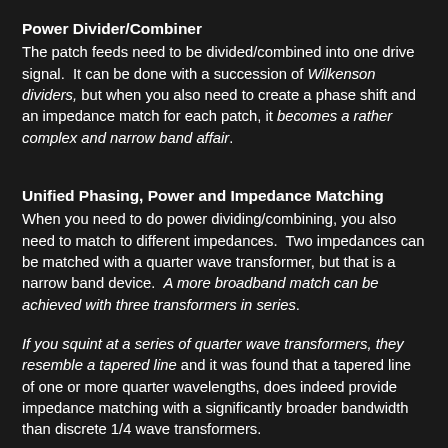Power Divider/Combiner
The patch feeds need to be divided/combined into one drive signal.  It can be done with a succession of Wilkenson dividers, but when you also need to create a phase shift and an impedance match for each patch, it becomes a rather complex and narrow band affair.
Unified Phasing, Power and Impedance Matching
When you need to do power dividing/combining, you also need to match to different impedances.  Two impedances can be matched with a quarter wave transformer, but that is a narrow band device.  A more broadband match can be achieved with three transformers in series.
If you squint at a series of quarter wave transformers, they resemble a tapered line and it was found that a tapered line of one or more quarter wavelengths, does indeed provide impedance matching with a significantly broader bandwidth than discrete 1/4 wave transformers.